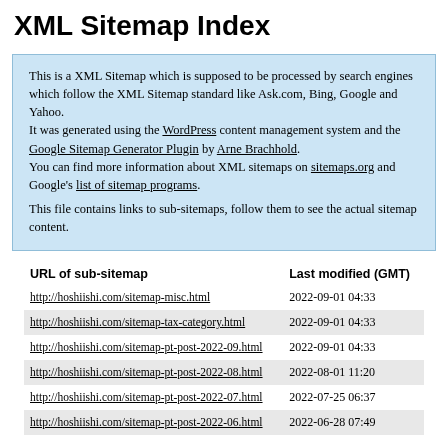XML Sitemap Index
This is a XML Sitemap which is supposed to be processed by search engines which follow the XML Sitemap standard like Ask.com, Bing, Google and Yahoo.
It was generated using the WordPress content management system and the Google Sitemap Generator Plugin by Arne Brachhold.
You can find more information about XML sitemaps on sitemaps.org and Google's list of sitemap programs.

This file contains links to sub-sitemaps, follow them to see the actual sitemap content.
| URL of sub-sitemap | Last modified (GMT) |
| --- | --- |
| http://hoshiishi.com/sitemap-misc.html | 2022-09-01 04:33 |
| http://hoshiishi.com/sitemap-tax-category.html | 2022-09-01 04:33 |
| http://hoshiishi.com/sitemap-pt-post-2022-09.html | 2022-09-01 04:33 |
| http://hoshiishi.com/sitemap-pt-post-2022-08.html | 2022-08-01 11:20 |
| http://hoshiishi.com/sitemap-pt-post-2022-07.html | 2022-07-25 06:37 |
| http://hoshiishi.com/sitemap-pt-post-2022-06.html | 2022-06-28 07:49 |